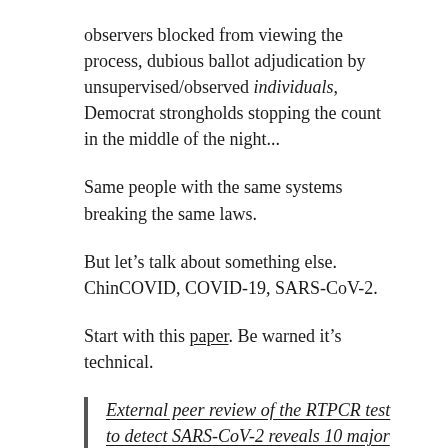observers blocked from viewing the process, dubious ballot adjudication by unsupervised/observed individuals, Democrat strongholds stopping the count in the middle of the night...
Same people with the same systems breaking the same laws.
But let’s talk about something else. ChinCOVID, COVID-19, SARS-CoV-2.
Start with this paper. Be warned it’s technical.
External peer review of the RTPCR test to detect SARS-CoV-2 reveals 10 major scientific flaws at the molecular and methodological level: consequences for